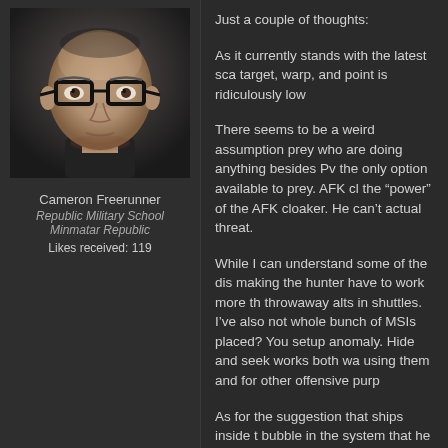[Figure (photo): Avatar/portrait of a bald male character wearing black-rimmed glasses, rendered in a sci-fi game style (EVE Online character portrait). Dark background, photorealistic CGI face.]
Cameron Freerunner
Republic Military School
Minmatar Republic
Likes received: 119
Just a couple of thoughts:
As it currently stands with the latest sca target, warp, and point is ridiculously low
There seems to be a weird assumption prey who are doing anything besides Pv the only option available to prey. AFK cl the “power” of the AFK cloaker. He can’t actual threat.
While I can understand some of the dis making the hunter have to work more th throwaway alts in shuttles. I’ve also not whole bunch of MSIs placed? You setup anomaly. Hide and seek works both wa using them and for other offensive purp
As for the suggestion that ships inside t bubble in the system that he can’t scan. an equal tradeoff; especially since nothi from finding or engaging the prey.
Personally, I’m happy to see that a scou